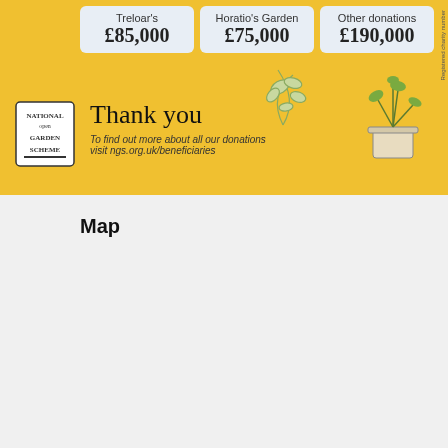[Figure (infographic): National Garden Scheme donation banner showing three donation amounts: Treloar's £85,000, Horatio's Garden £75,000, Other donations £190,000, with Thank you text and NGS logo on yellow background]
Map
[Figure (map): Google Maps embed showing Hanley Swan area with location pin marker labeled Hanley Swan Duck Pond, red boundary outline, roads including B4209 and Welland Rd, nearby area Gilbert's End, zoom controls, and map popup with Hanley Swan and View larger map link]